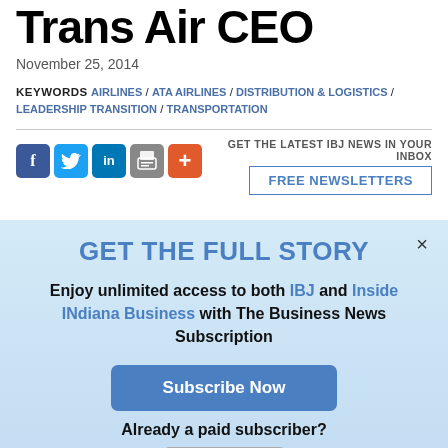Trans Air CEO
November 25, 2014
KEYWORDS AIRLINES / ATA AIRLINES / DISTRIBUTION & LOGISTICS / LEADERSHIP TRANSITION / TRANSPORTATION
[Figure (infographic): Social sharing icons: Facebook, Twitter, LinkedIn, Print, More (+)]
GET THE LATEST IBJ NEWS IN YOUR INBOX
FREE NEWSLETTERS
GET THE FULL STORY
Enjoy unlimited access to both IBJ and Inside INdiana Business with The Business News Subscription
Subscribe Now
Already a paid subscriber?
Log In